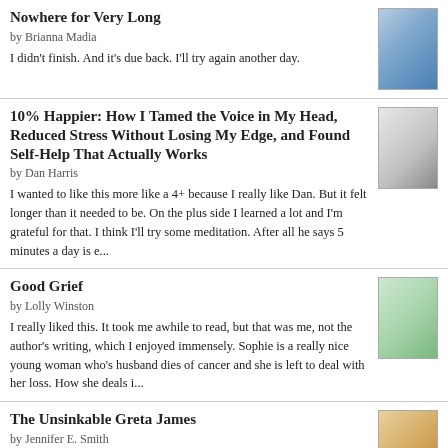Nowhere for Very Long
by Brianna Madia
I didn't finish. And it's due back. I'll try again another day.
10% Happier: How I Tamed the Voice in My Head, Reduced Stress Without Losing My Edge, and Found Self-Help That Actually Works
by Dan Harris
I wanted to like this more like a 4+ because I really like Dan. But it felt longer than it needed to be. On the plus side I learned a lot and I'm grateful for that. I think I'll try some meditation. After all he says 5 minutes a day is e...
Good Grief
by Lolly Winston
I really liked this. It took me awhile to read, but that was me, not the author's writing, which I enjoyed immensely. Sophie is a really nice young woman who's husband dies of cancer and she is left to deal with her loss. How she deals i...
The Unsinkable Greta James
by Jennifer E. Smith